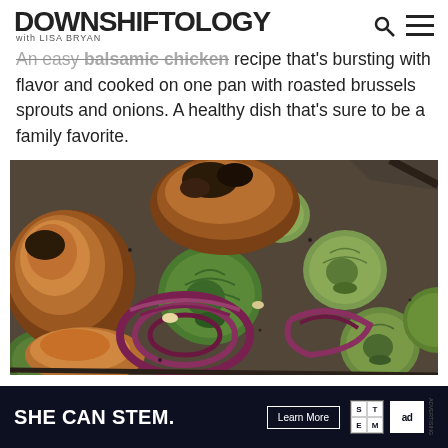DOWNSHIFTOLOGY with LISA BRYAN
An easy balsamic chicken recipe that's bursting with flavor and cooked on one pan with roasted brussels sprouts and onions. A healthy dish that's sure to be a family favorite.
[Figure (photo): Overhead close-up photo of a sheet pan with roasted balsamic chicken thighs, brussels sprouts halved, and sliced red onions on a dark baking sheet.]
[Figure (photo): Advertisement banner: SHE CAN STEM. with a Learn More button, STEM logo grid, and Ad Council logo on dark background.]